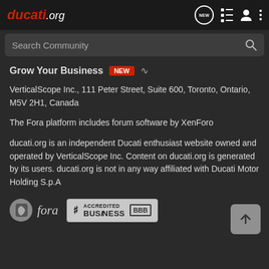ducati.org
Search Community
Grow Your Business NEW
VerticalScope Inc., 111 Peter Street, Suite 600, Toronto, Ontario, M5V 2H1, Canada
The Fora platform includes forum software by XenForo
ducati.org is an independent Ducati enthusiast website owned and operated by VerticalScope Inc. Content on ducati.org is generated by its users. ducati.org is not in any way affiliated with Ducati Motor Holding S.p.A
[Figure (logo): Fora platform logo with circular icon and italic wordmark]
[Figure (logo): BBB Accredited Business badge]